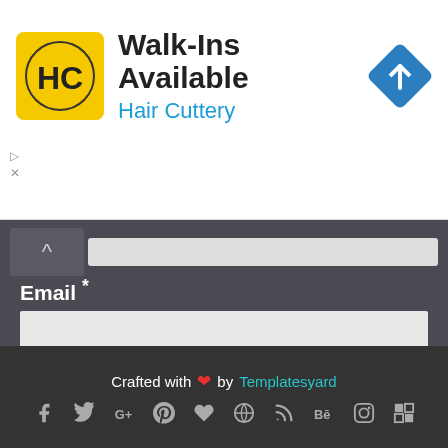[Figure (screenshot): Advertisement banner for Hair Cuttery with logo, 'Walk-Ins Available' text, and navigation icon]
Email *
Message *
Send
Crafted with ❤ by Templatesyard